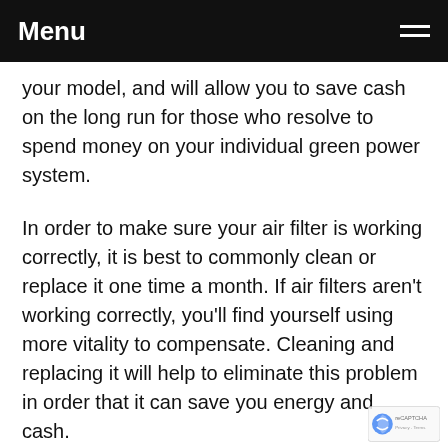Menu
your model, and will allow you to save cash on the long run for those who resolve to spend money on your individual green power system.
In order to make sure your air filter is working correctly, it is best to commonly clean or replace it one time a month. If air filters aren't working correctly, you'll find yourself using more vitality to compensate. Cleaning and replacing it will help to eliminate this problem in order that it can save you energy and cash.
Throughout cooler days, turn off that air conditioning to be greener and save on vitality. Many homeowners